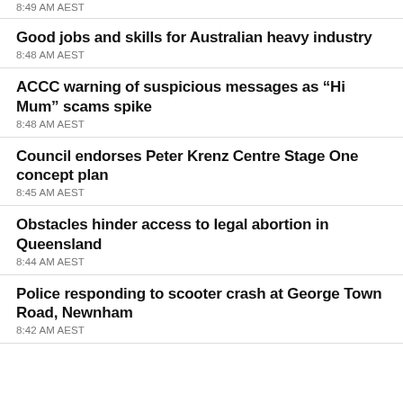8:49 AM AEST
Good jobs and skills for Australian heavy industry
8:48 AM AEST
ACCC warning of suspicious messages as “Hi Mum” scams spike
8:48 AM AEST
Council endorses Peter Krenz Centre Stage One concept plan
8:45 AM AEST
Obstacles hinder access to legal abortion in Queensland
8:44 AM AEST
Police responding to scooter crash at George Town Road, Newnham
8:42 AM AEST